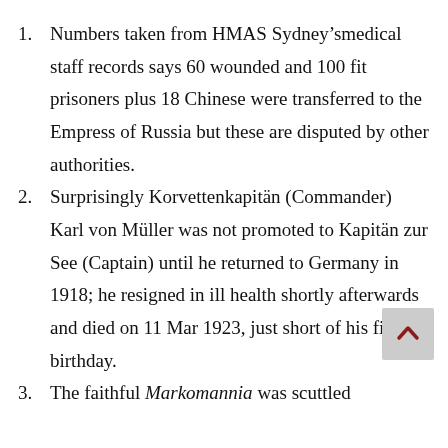Numbers taken from HMAS Sydney’smedical staff records says 60 wounded and 100 fit prisoners plus 18 Chinese were transferred to the Empress of Russia but these are disputed by other authorities.
Surprisingly Korvettenkapitän (Commander) Karl von Müller was not promoted to Kapitän zur See (Captain) until he returned to Germany in 1918; he resigned in ill health shortly afterwards and died on 11 Mar 1923, just short of his fiftieth birthday.
The faithful Markomannia was scuttled